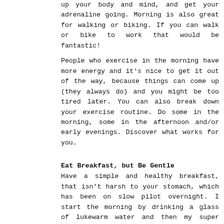up your body and mind, and get your adrenaline going. Morning is also great for walking or biking. If you can walk or bike to work that would be fantastic!
People who exercise in the morning have more energy and it's nice to get it out of the way, because things can come up (they always do) and you might be too tired later. You can also break down your exercise routine. Do some in the morning, some in the afternoon and/or early evenings. Discover what works for you.
Eat Breakfast, but Be Gentle
Have a simple and healthy breakfast, that isn't harsh to your stomach, which has been on slow pilot overnight. I start the morning by drinking a glass of lukewarm water and then my super duper smoothie, and a yogurt (soy) parfait.
Avoid oily, acidic, sugary, and processed foods on an